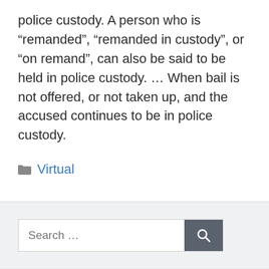police custody. A person who is “remanded”, “remanded in custody”, or “on remand”, can also be said to be held in police custody. … When bail is not offered, or not taken up, and the accused continues to be in police custody.
Virtual
From me